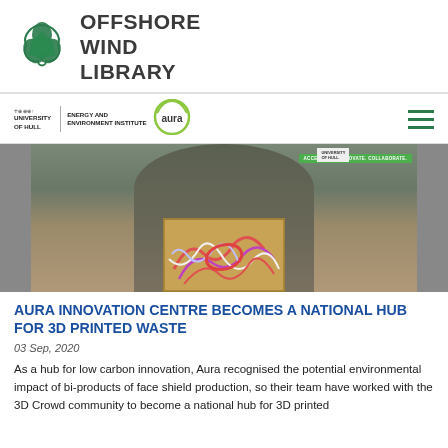OFFSHORE WIND LIBRARY
[Figure (logo): Offshore Wind Library logo with green triquetra/trefoil knot symbol]
[Figure (logo): University of Hull | Energy and Environment Institute with Aura logo]
[Figure (photo): Person holding a cardboard box full of 3D printed plastic waste (face shield bi-products) in front of a green Aura Innovation Centre banner]
AURA INNOVATION CENTRE BECOMES A NATIONAL HUB FOR 3D PRINTED WASTE
03 Sep, 2020
As a hub for low carbon innovation, Aura recognised the potential environmental impact of bi-products of face shield production, so their team have worked with the 3D Crowd community to become a national hub for 3D printed